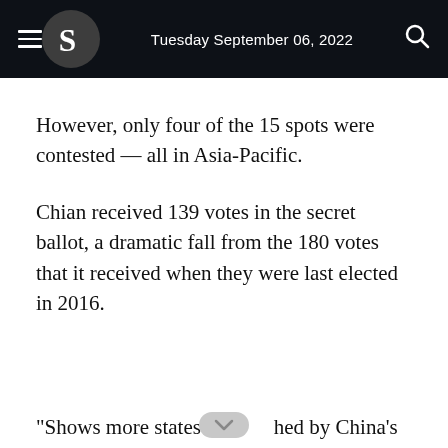Tuesday September 06, 2022
However, only four of the 15 spots were contested — all in Asia-Pacific.
Chian received 139 votes in the secret ballot, a dramatic fall from the 180 votes that it received when they were last elected in 2016.
"Shows more states are hed by China's